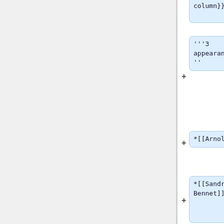column}}
'''3 appearances'''
*[[Arnold]]
*[[Sandra Bennet]]
*[[Black-haired carny]]
*[[Gail Bowman]]
*[[Jennie Bowman]]
*[[Carny]]
*[[Carny